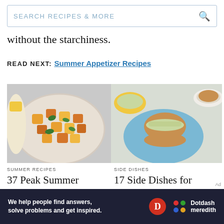SEARCH RECIPES & MORE
without the starchiness.
READ NEXT: Summer Appetizer Recipes
[Figure (photo): Bowl of summer food with orange and yellow cubed ingredients and fresh herbs]
SUMMER RECIPES
37 Peak Summer Recipes
[Figure (photo): Plates with pulled pork burger and coleslaw side dishes on blue plate, top-down view]
SIDE DISHES
17 Side Dishes for Pulled Pork
We help people find answers, solve problems and get inspired. Dotdash meredith